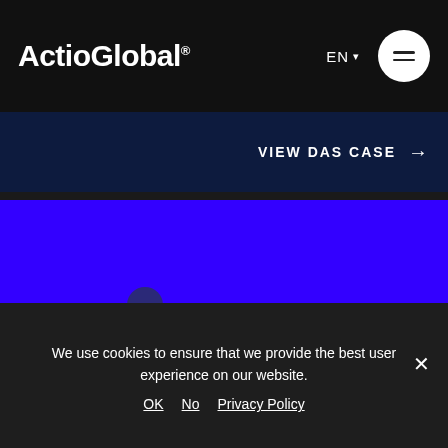ActioGlobal® EN ☰
VIEW DAS CASE →
[Figure (illustration): Blue background with a dark blue/grey human figure silhouette standing in the lower left portion of the frame]
We use cookies to ensure that we provide the best user experience on our website. OK  No  Privacy Policy